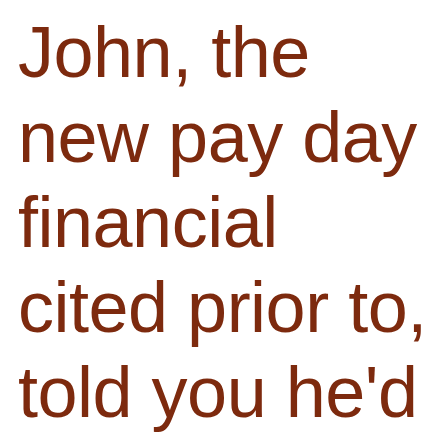John, the new pay day financial cited prior to, told you he'd put cash on brand